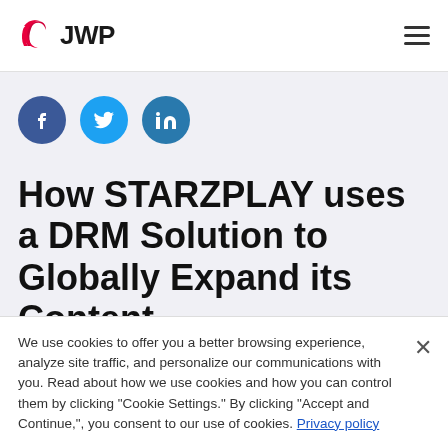JWP
[Figure (logo): Three social media icons: Facebook (dark blue circle with 'f'), Twitter (light blue circle with bird icon), LinkedIn (teal circle with 'in')]
How STARZPLAY uses a DRM Solution to Globally Expand its Content
We use cookies to offer you a better browsing experience, analyze site traffic, and personalize our communications with you. Read about how we use cookies and how you can control them by clicking "Cookie Settings." By clicking "Accept and Continue,", you consent to our use of cookies. Privacy policy